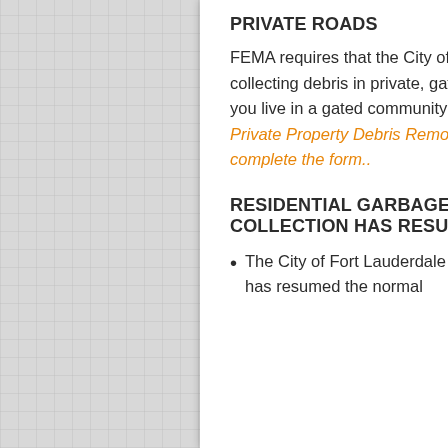PRIVATE ROADS
FEMA requires that the City of Fort Lauderdale obtain permission before collecting debris in private, gated communities and on private roadways.  If you live in a gated community or on a private road, please complete the Private Property Debris Removal Form. Click here for instructions to complete the form..
RESIDENTIAL GARBAGE COLLECTION HAS RESUMED
The City of Fort Lauderdale has resumed the normal